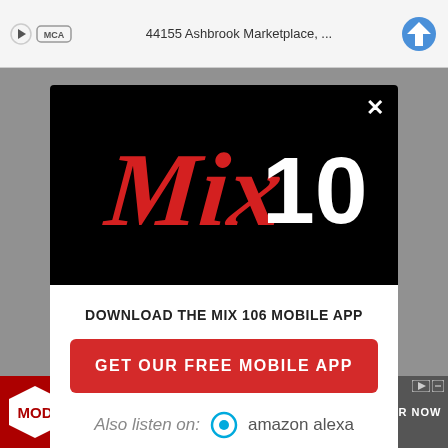44155 Ashbrook Marketplace, ...
[Figure (logo): Mix 106 radio station logo on black background — stylized red script 'Mix' with white bold '106']
DOWNLOAD THE MIX 106 MOBILE APP
GET OUR FREE MOBILE APP
Also listen on: amazon alexa
[Figure (screenshot): MOD Pizza advertisement with pizza image and ORDER NOW button]